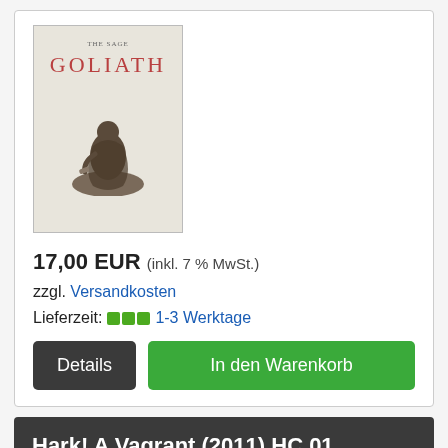[Figure (illustration): Book cover for 'Goliath' with reddish-brown title text on a cream/beige background, with a small illustration of a seated figure at the bottom]
17,00 EUR (inkl. 7 % MwSt.)
zzgl. Versandkosten
Lieferzeit: 1-3 Werktage
Details
In den Warenkorb
Hark! A Vagrant (2011) HC 01
Kate Beaton